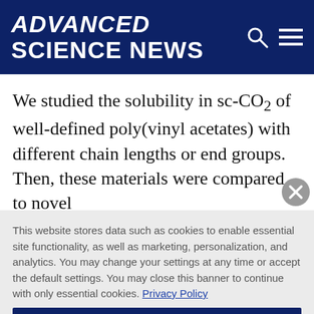ADVANCED SCIENCE NEWS
We studied the solubility in sc-CO₂ of well-defined poly(vinyl acetates) with different chain lengths or end groups. Then, these materials were compared to novel
This website stores data such as cookies to enable essential site functionality, as well as marketing, personalization, and analytics. You may change your settings at any time or accept the default settings. You may close this banner to continue with only essential cookies. Privacy Policy
Manage Preferences
Accept All
Reject All